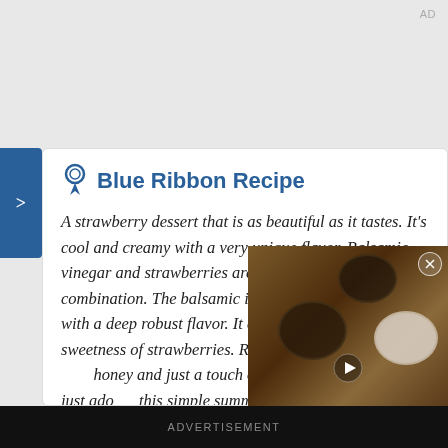AD
Blue Ribbon Recipe
A strawberry dessert that is as beautiful as it tastes. It's cool and creamy with a very unique flavor. Balsamic vinegar and strawberries are a wonderful flavor combination. The balsamic is slightly sweet and tangy with a deep robust flavor. It enhances the natural sweetness of strawberries. Ricotta che... honey and just a touch o... sprinkled on top just ado... this simple summer dess... served, this could be served at a fancy
[Figure (screenshot): Video overlay showing overhead view of bowls with ingredients on wooden surface, with play button]
ADVERTISEMENT